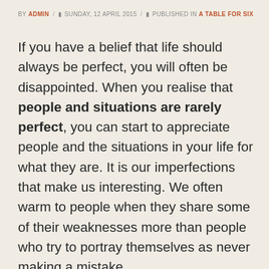BY ADMIN / SUNDAY, 12 APRIL 2015 / PUBLISHED IN A TABLE FOR SIX
If you have a belief that life should always be perfect, you will often be disappointed. When you realise that people and situations are rarely perfect, you can start to appreciate people and the situations in your life for what they are. It is our imperfections that make us interesting. We often warm to people when they share some of their weaknesses more than people who try to portray themselves as never making a mistake.